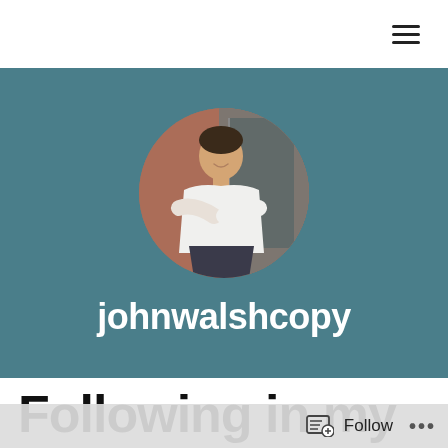[Figure (other): Hamburger menu icon (three horizontal lines) in top-right corner of navigation bar]
[Figure (photo): Circular cropped photo of a man in a white shirt with arms crossed, standing against a brick wall and gray door, used as profile image on teal background]
johnwalshcopy
Following in my
[Figure (other): Follow button with document/plus icon and the word Follow, plus three dots menu, in a semi-transparent bottom bar]